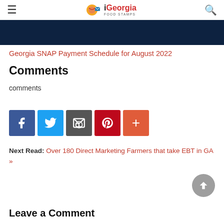iGeorgia FOOD STAMPS
[Figure (illustration): Dark navy banner/hero image section]
Georgia SNAP Payment Schedule for August 2022
Comments
comments
[Figure (infographic): Social share buttons: Facebook, Twitter, Email, Pinterest, More (+)]
Next Read: Over 180 Direct Marketing Farmers that take EBT in GA »
Leave a Comment